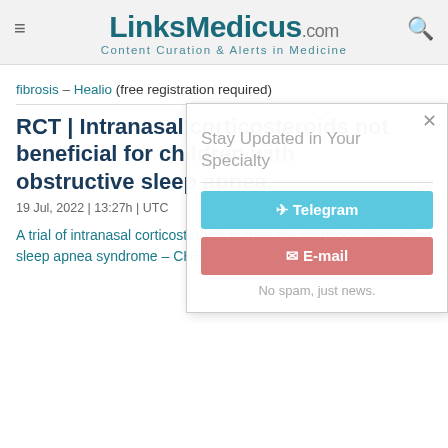LinksMedicus.com — Content Curation & Alerts in Medicine
fibrosis – Healio (free registration required)
RCT | Intranasal corticosteroids not beneficial for children with obstructive sleep apnea.
19 Jul, 2022 | 13:27h | UTC
A trial of intranasal corticosteroids to treat the childhood obstructive sleep apnea syndrome – CHEST (link to abstract – $ for full-text)
[Figure (screenshot): Popup overlay prompting user to stay updated in their specialty via Telegram or Email, with close button and 'No spam, just news.' message]